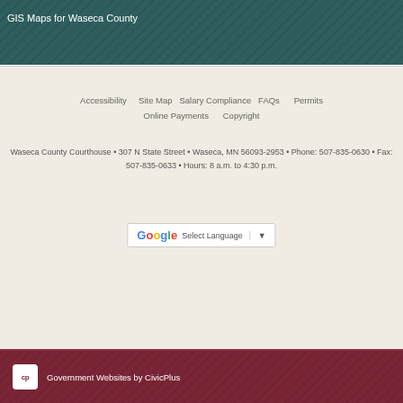GIS Maps for Waseca County
Accessibility   Site Map   Salary Compliance   FAQs   Permits
Online Payments   Copyright
Waseca County Courthouse • 307 N State Street • Waseca, MN 56093-2953 • Phone: 507-835-0630 • Fax: 507-835-0633 • Hours: 8 a.m. to 4:30 p.m.
[Figure (other): Google Translate widget showing 'Select Language' with dropdown arrow]
Government Websites by CivicPlus